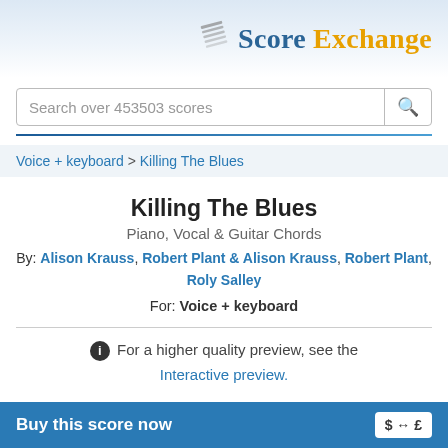Score Exchange
Search over 453503 scores
Voice + keyboard > Killing The Blues
Killing The Blues
Piano, Vocal & Guitar Chords
By: Alison Krauss, Robert Plant & Alison Krauss, Robert Plant, Roly Salley
For: Voice + keyboard
For a higher quality preview, see the Interactive preview.
Buy this score now